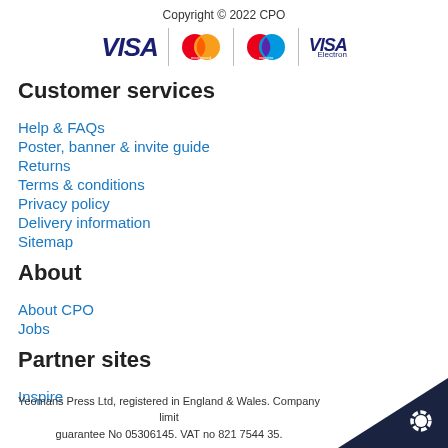Copyright © 2022 CPO
[Figure (logo): Payment method logos: VISA, Mastercard, Maestro, VISA Electron]
Customer services
Help & FAQs
Poster, banner & invite guide
Returns
Terms & conditions
Privacy policy
Delivery information
Sitemap
About
About CPO
Jobs
Partner sites
Inspire
Yeomans Press Ltd, registered in England & Wales. Company limited by guarantee No 05306145. VAT no 821 7544 35.